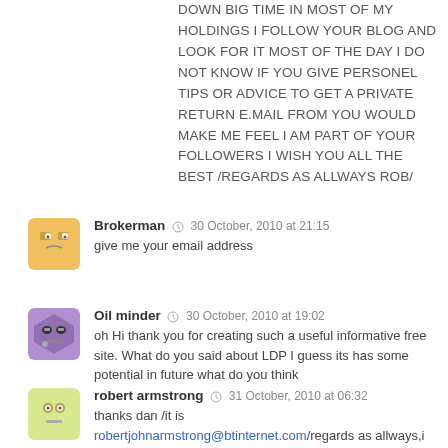DOWN BIG TIME IN MOST OF MY HOLDINGS I FOLLOW YOUR BLOG AND LOOK FOR IT MOST OF THE DAY I DO NOT KNOW IF YOU GIVE PERSONEL TIPS OR ADVICE TO GET A PRIVATE RETURN E.MAIL FROM YOU WOULD MAKE ME FEEL I AM PART OF YOUR FOLLOWERS I WISH YOU ALL THE BEST /REGARDS AS ALLWAYS ROB/
Brokerman · 30 October, 2010 at 21:15 · give me your email address
Oil minder · 30 October, 2010 at 19:02 · oh Hi thank you for creating such a useful informative free site. What do you said about LDP I guess its has some potential in future what do you think
robert armstrong · 31 October, 2010 at 06:32 · thanks dan /it is robertjohnarmstrong@btinternet.com/regards as allways,i look forward to hear from you /rob.